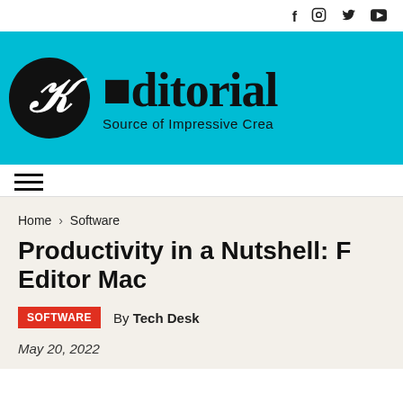Social icons: f, Instagram, Twitter, YouTube
[Figure (logo): Editorials logo — black circle with stylized Z letter, cyan/blue banner background, gothic blackletter 'Editorial' text, tagline 'Source of Impressive Crea']
≡ (hamburger menu icon)
Home › Software
Productivity in a Nutshell: F Editor Mac
SOFTWARE   By Tech Desk
May 20, 2022